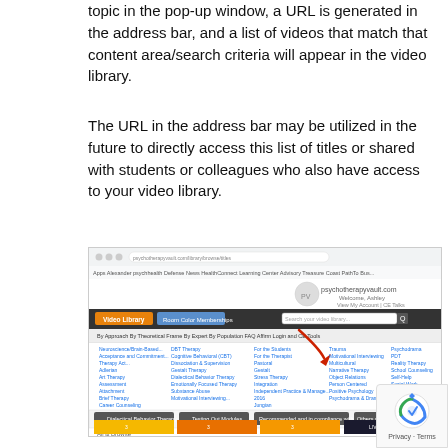topic in the pop-up window, a URL is generated in the address bar, and a list of videos that match that content area/search criteria will appear in the video library.
The URL in the address bar may be utilized in the future to directly access this list of titles or shared with students or colleagues who also have access to your video library.
[Figure (screenshot): Screenshot of a video library website showing a navigation bar, content area categories organized in columns, filter buttons, and video thumbnails below.]